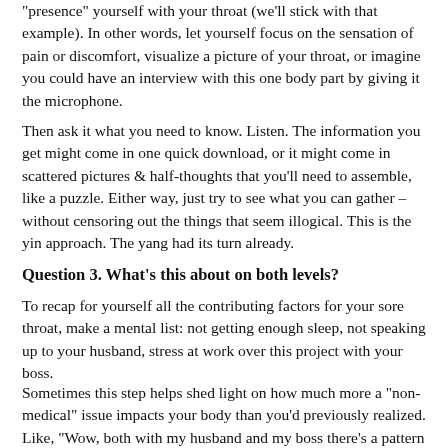“presence” yourself with your throat (we’ll stick with that example). In other words, let yourself focus on the sensation of pain or discomfort, visualize a picture of your throat, or imagine you could have an interview with this one body part by giving it the microphone.
Then ask it what you need to know. Listen. The information you get might come in one quick download, or it might come in scattered pictures & half-thoughts that you’ll need to assemble, like a puzzle. Either way, just try to see what you can gather – without censoring out the things that seem illogical. This is the yin approach. The yang had its turn already.
Question 3.  What’s this about on both levels?
To recap for yourself all the contributing factors for your sore throat, make a mental list: not getting enough sleep, not speaking up to your husband, stress at work over this project with your boss.
Sometimes this step helps shed light on how much more a “non-medical” issue impacts your body than you’d previously realized. Like, “Wow, both with my husband and my boss there’s a pattern of me not